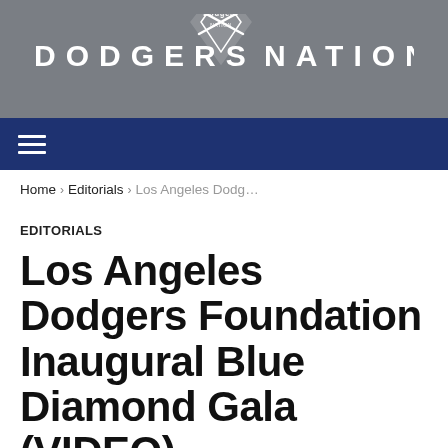[Figure (logo): Dodgers Nation logo with baseball diamond emblem and stylized text 'DODGERS NATION']
☰
Home › Editorials › Los Angeles Dodg…
EDITORIALS
Los Angeles Dodgers Foundation Inaugural Blue Diamond Gala (VIDEO)